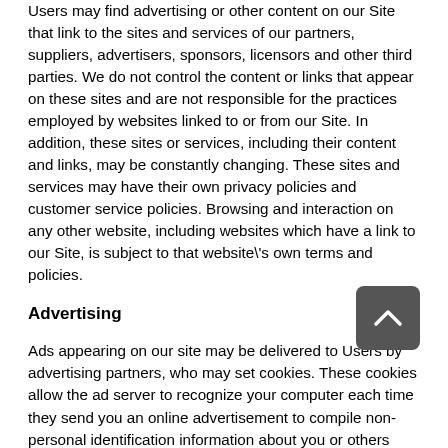Users may find advertising or other content on our Site that link to the sites and services of our partners, suppliers, advertisers, sponsors, licensors and other third parties. We do not control the content or links that appear on these sites and are not responsible for the practices employed by websites linked to or from our Site. In addition, these sites or services, including their content and links, may be constantly changing. These sites and services may have their own privacy policies and customer service policies. Browsing and interaction on any other website, including websites which have a link to our Site, is subject to that website\'s own terms and policies.
Advertising
Ads appearing on our site may be delivered to Users by advertising partners, who may set cookies. These cookies allow the ad server to recognize your computer each time they send you an online advertisement to compile non-personal identification information about you or others who use your computer. This information allows ad